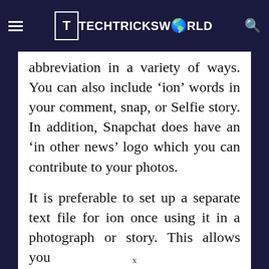TECHTRICKSWORLD
abbreviation in a variety of ways. You can also include ‘ion’ words in your comment, snap, or Selfie story. In addition, Snapchat does have an ‘in other news’ logo which you can contribute to your photos.
It is preferable to set up a separate text file for ion once using it in a photograph or story. This allows you